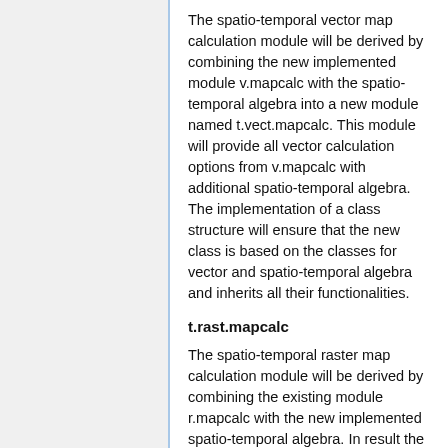The spatio-temporal vector map calculation module will be derived by combining the new implemented module v.mapcalc with the spatio-temporal algebra into a new module named t.vect.mapcalc. This module will provide all vector calculation options from v.mapcalc with additional spatio-temporal algebra. The implementation of a class structure will ensure that the new class is based on the classes for vector and spatio-temporal algebra and inherits all their functionalities.
t.rast.mapcalc
The spatio-temporal raster map calculation module will be derived by combining the existing module r.mapcalc with the new implemented spatio-temporal algebra. In result the arithmetic operations for raster maps will be